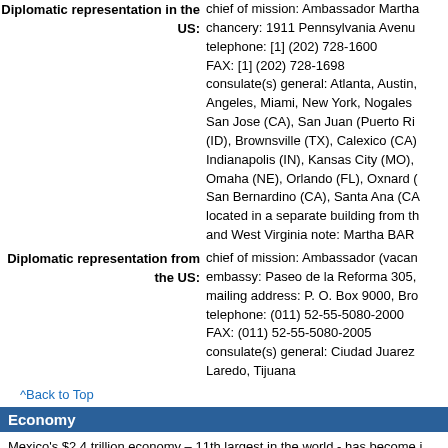Diplomatic representation in the US: chief of mission: Ambassador Martha chancery: 1911 Pennsylvania Avenu telephone: [1] (202) 728-1600 FAX: [1] (202) 728-1698 consulate(s) general: Atlanta, Austin, Angeles, Miami, New York, Nogales San Jose (CA), San Juan (Puerto Ri (ID), Brownsville (TX), Calexico (CA) Indianapolis (IN), Kansas City (MO), Omaha (NE), Orlando (FL), Oxnard San Bernardino (CA), Santa Ana (CA located in a separate building from th and West Virginia note: Martha BAR
Diplomatic representation from the US: chief of mission: Ambassador (vacan embassy: Paseo de la Reforma 305, mailing address: P. O. Box 9000, Bro telephone: (011) 52-55-5080-2000 FAX: (011) 52-55-5080-2005 consulate(s) general: Ciudad Juarez Laredo, Tijuana
^Back to Top
Economy
Mexico's $2.4 trillion economy – 11th largest in the world - has become i Trade Agreement (NAFTA) entered into force in 1994. Per capita income Mexico has become the US' second-largest export market and third-large $623 billion. Mexico has free trade agreements with 46 countries, putting formed the Pacific Alliance with Peru, Colombia, and Chile. Mexico's curr economic reforms, passing and implementing sweeping energy, financial long-term aim to improve competitiveness and economic growth across t gas exploration and development rights and for long-term electric powe